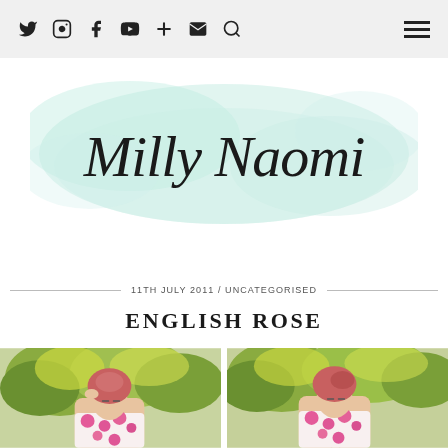Social icons navigation bar with Twitter, Instagram, Facebook, YouTube, Google+, Email, Search icons and hamburger menu
[Figure (logo): Milly Naomi blog logo in cursive script on a mint green watercolor splash background]
11TH JULY 2011 / UNCATEGORISED
ENGLISH ROSE
[Figure (photo): Two side-by-side photos of a woman with red/pink hair in a floral dress with pink roses, standing in a garden with yellow and white roses and green trees in the background]